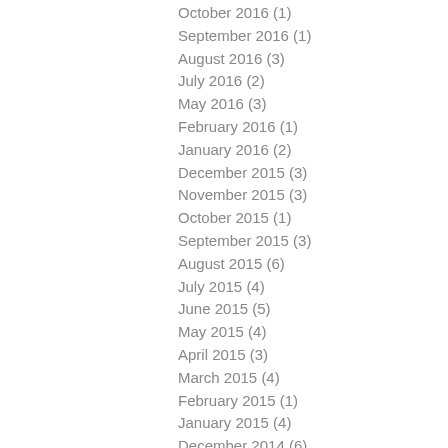October 2016 (1)
September 2016 (1)
August 2016 (3)
July 2016 (2)
May 2016 (3)
February 2016 (1)
January 2016 (2)
December 2015 (3)
November 2015 (3)
October 2015 (1)
September 2015 (3)
August 2015 (6)
July 2015 (4)
June 2015 (5)
May 2015 (4)
April 2015 (3)
March 2015 (4)
February 2015 (1)
January 2015 (4)
December 2014 (6)
November 2014 (2)
September 2014 (2)
August 2014 (3)
July 2014 (2)